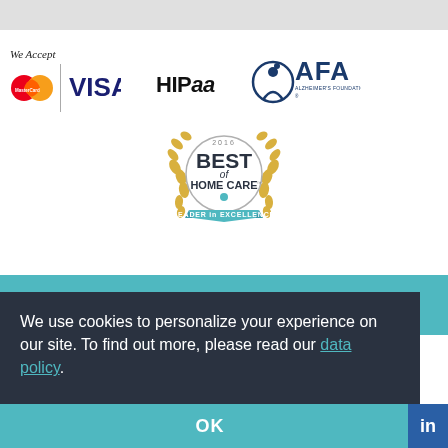[Figure (logo): We Accept MasterCard and VISA logos, HIPaa logo, AFA Alzheimer's Foundation of America logo, and 2016 Best of Home Care Leader in Excellence badge]
We use cookies to personalize your experience on our site. To find out more, please read our data policy.
OK